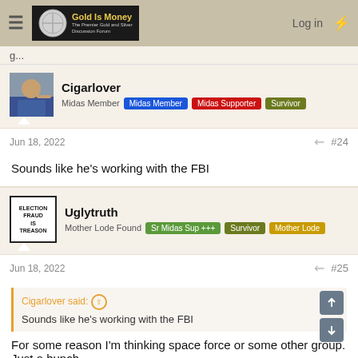Gold Is Money - The Premier Gold and Silver Discussion Forum
Cigarlover
Midas Member  Midas Member  Midas Supporter  Survivor
Jun 18, 2022  #24
Sounds like he's working with the FBI
Uglytruth
Mother Lode Found  Sr Midas Sup +++  Survivor  Mother Lode
Jun 18, 2022  #25
Cigarlover said: ↑
Sounds like he's working with the FBI
For some reason I'm thinking space force or some other group. Just a hunch.